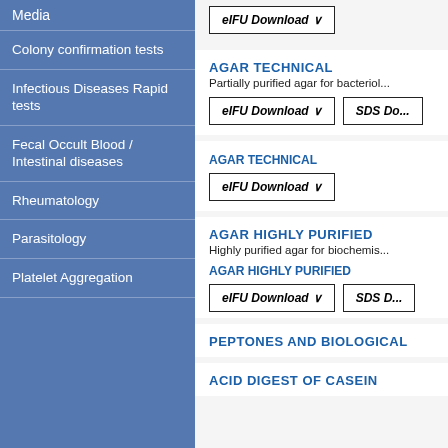Media
Colony confirmation tests
Infectious Diseases Rapid tests
Fecal Occult Blood / Intestinal diseases
Rheumatology
Parasitology
Platelet Aggregation
AGAR TECHNICAL
Partially purified agar for bacteriol...
eIFU Download ∨
SDS Do...
AGAR TECHNICAL
eIFU Download ∨
AGAR HIGHLY PURIFIED
Highly purified agar for biochemis...
AGAR HIGHLY PURIFIED
eIFU Download ∨
SDS D...
PEPTONES AND BIOLOGICAL
ACID DIGEST OF CASEIN